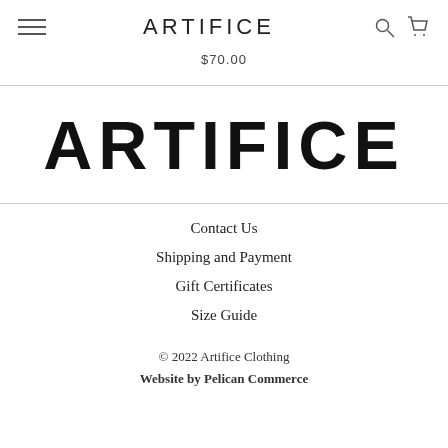ARTIFICE
$70.00
[Figure (logo): ARTIFICE brand logo in large bold uppercase letters]
Contact Us
Shipping and Payment
Gift Certificates
Size Guide
© 2022 Artifice Clothing
Website by Pelican Commerce